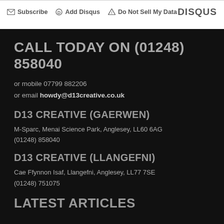Subscribe · Add Disqus · Do Not Sell My Data · DISQUS
CALL TODAY ON (01248) 858040
or mobile 07799 882206
or email howdy@d13creative.co.uk
D13 CREATIVE (GAERWEN)
M-Sparc, Menai Science Park, Anglesey, LL60 6AG
(01248) 858040
D13 CREATIVE (LLANGEFNI)
Cae Ffynnon Isaf, Llangefni, Anglesey, LL77 7SE
(01248) 751075
LATEST ARTICLES